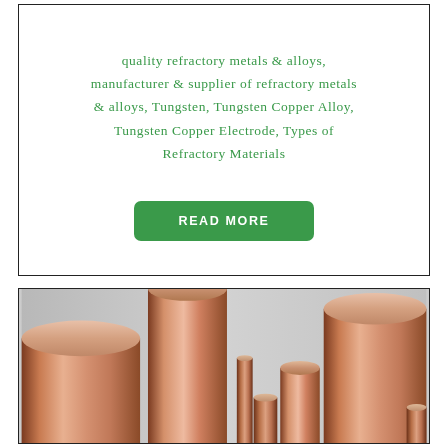quality refractory metals & alloys, manufacturer & supplier of refractory metals & alloys, Tungsten, Tungsten Copper Alloy, Tungsten Copper Electrode, Types of Refractory Materials
[Figure (other): Green rounded-rectangle button with white uppercase text 'READ MORE']
[Figure (photo): Photograph of multiple copper-colored cylindrical metal rods and bars of various diameters arranged vertically, showing their circular cross-sections from a slightly elevated perspective. The rods have a warm copper/bronze color.]